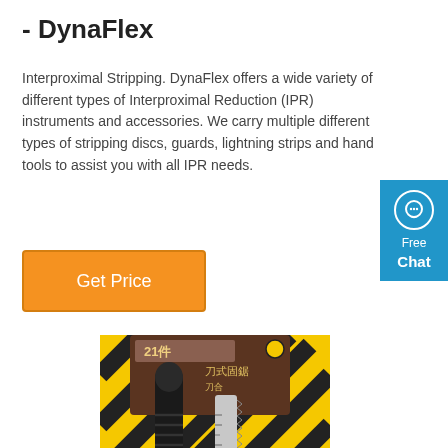- DynaFlex
Interproximal Stripping. DynaFlex offers a wide variety of different types of Interproximal Reduction (IPR) instruments and accessories. We carry multiple different types of stripping discs, guards, lightning strips and hand tools to assist you with all IPR needs.
[Figure (other): Orange 'Get Price' button]
[Figure (other): Blue chat widget on right side showing speech bubble icon, 'Free' and 'Chat' text]
[Figure (photo): Product photo showing dental IPR hand tool (interproximal stripping instrument) with a black handle and a silver serrated metal strip, displayed in its packaging with Chinese text and yellow/black striped background]